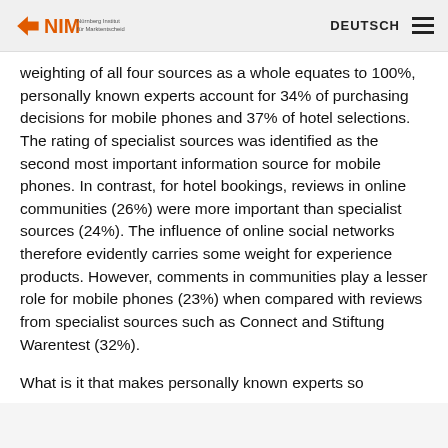NIM | DEUTSCH
weighting of all four sources as a whole equates to 100%, personally known experts account for 34% of purchasing decisions for mobile phones and 37% of hotel selections. The rating of specialist sources was identified as the second most important information source for mobile phones. In contrast, for hotel bookings, reviews in online communities (26%) were more important than specialist sources (24%). The influence of online social networks therefore evidently carries some weight for experience products. However, comments in communities play a lesser role for mobile phones (23%) when compared with reviews from specialist sources such as Connect and Stiftung Warentest (32%).
What is it that makes personally known experts so